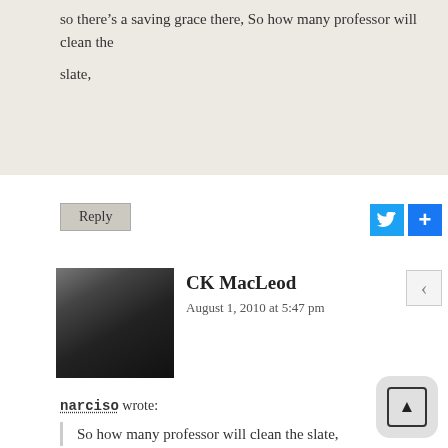so there's a saving grace there, So how many professor will clean the slate,
Reply
CK MacLeod
August 1, 2010 at 5:47 pm
narciso wrote:
So how many professor will clean the slate,
That's not his recommendation. It may be the eventual result of yours, someday probably far off. Your, and